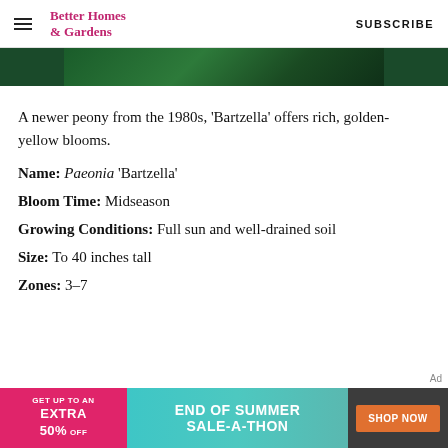Better Homes & Gardens  SUBSCRIBE
[Figure (photo): Close-up photo of green peony foliage, dark green background]
A newer peony from the 1980s, 'Bartzella' offers rich, golden-yellow blooms.
Name: Paeonia 'Bartzella'
Bloom Time: Midseason
Growing Conditions: Full sun and well-drained soil
Size: To 40 inches tall
Zones: 3–7
[Figure (other): Advertisement banner: GET UP TO AN EXTRA 50% OFF END OF SUMMER SALE-A-THON SHOP NOW]